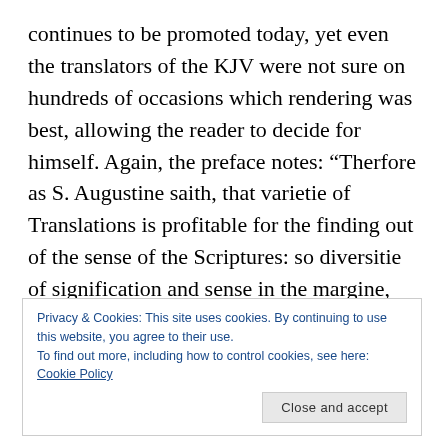continues to be promoted today, yet even the translators of the KJV were not sure on hundreds of occasions which rendering was best, allowing the reader to decide for himself. Again, the preface notes: “Therfore as S. Augustine saith, that varietie of Translations is profitable for the finding out of the sense of the Scriptures: so diversitie of signification and sense in the margine, where the text is not so cleare, must needes doe good, yea is necessary, as we are perswaded… They that are wise, had rather have their judgements at libertie in difference of readings, than to be captivated
Privacy & Cookies: This site uses cookies. By continuing to use this website, you agree to their use.
To find out more, including how to control cookies, see here: Cookie Policy
Close and accept
Version. Further, some of the typos and blatant errors of